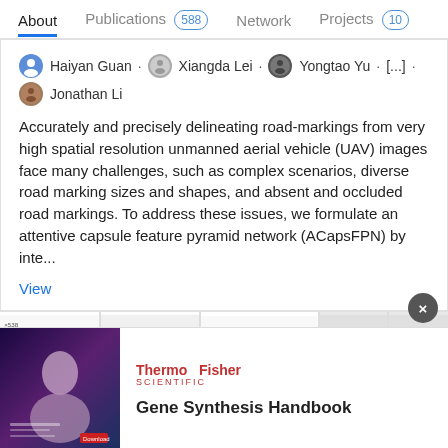About | Publications 588 | Network | Projects 10
Haiyan Guan · Xiangda Lei · Yongtao Yu · [...] · Jonathan Li
Accurately and precisely delineating road-markings from very high spatial resolution unmanned aerial vehicle (UAV) images face many challenges, such as complex scenarios, diverse road marking sizes and shapes, and absent and occluded road markings. To address these issues, we formulate an attentive capsule feature pyramid network (ACapsFPN) by inte...
View
[Figure (screenshot): Thumbnail strip of paper figures showing network architecture diagrams with arrows, feature maps, and module connections. An 'Advertisement' overlay appears on the third thumbnail.]
[Figure (screenshot): ThermoFisher Scientific advertisement banner with dark purple/blue background image on the left and 'Gene Synthesis Handbook' title on the right.]